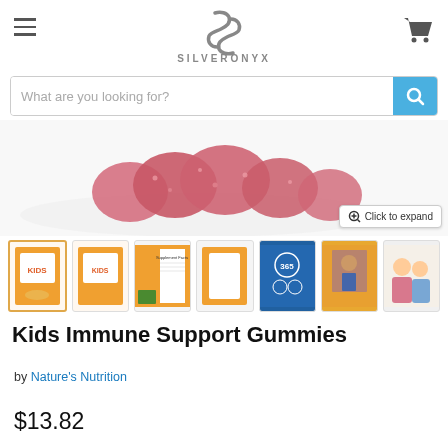SILVERONYX
What are you looking for?
[Figure (photo): Product image showing red gummy candies on a white plate, partially visible at top]
[Figure (photo): Row of 6 product thumbnail images for Kids Immune Support Gummies - showing bottle, label, supplement facts, blue box, lifestyle, and kids playing]
Kids Immune Support Gummies
by Nature's Nutrition
$13.82